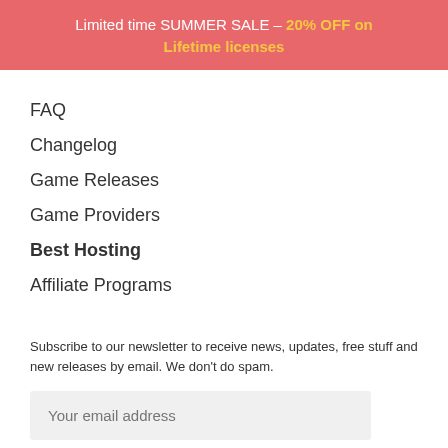Limited time SUMMER SALE – 20% OFF on Lifetime licenses
FAQ
Changelog
Game Releases
Game Providers
Best Hosting
Affiliate Programs
Subscribe to our newsletter to receive news, updates, free stuff and new releases by email. We don't do spam.
Your email address